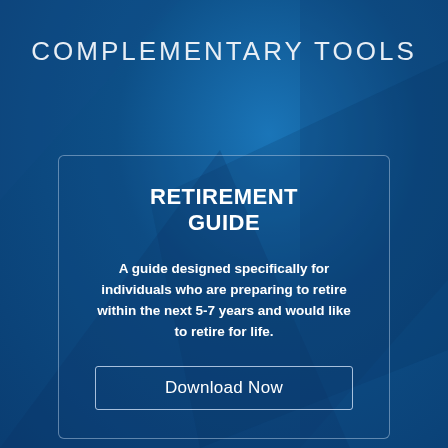COMPLEMENTARY TOOLS
RETIREMENT GUIDE
A guide designed specifically for individuals who are preparing to retire within the next 5-7 years and would like to retire for life.
Download Now